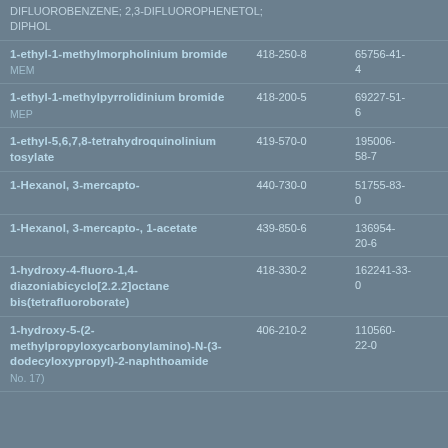|  |  |  |
| --- | --- | --- |
| DIFLUOROBENZENE; 2,3-DIFLUOROPHENETOL; DIPHOL |  |  |
| 1-ethyl-1-methylmorpholinium bromide
MEM | 418-250-8 | 65756-41-4 |
| 1-ethyl-1-methylpyrrolidinium bromide
MEP | 418-200-5 | 69227-51-6 |
| 1-ethyl-5,6,7,8-tetrahydroquinolinium tosylate | 419-570-0 | 195006-58-7 |
| 1-Hexanol, 3-mercapto- | 440-730-0 | 51755-83-0 |
| 1-Hexanol, 3-mercapto-, 1-acetate | 439-850-6 | 136954-20-6 |
| 1-hydroxy-4-fluoro-1,4-diazoniabicyclo[2.2.2]octane bis(tetrafluoroborate) | 418-330-2 | 162241-33-0 |
| 1-hydroxy-5-(2-methylpropyloxycarbonylamino)-N-(3-dodecyloxypropyl)-2-naphthoamide
No. 17) | 406-210-2 | 110560-22-0 |